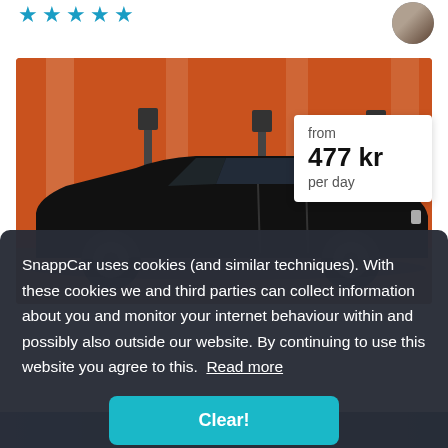[Figure (other): Five blue star rating icons]
[Figure (photo): Circular avatar photo of a person]
[Figure (photo): Photo of a dark/black Volkswagen wagon-style car parked in front of an orange wall with parking meters]
from
477 kr
per day
SnappCar uses cookies (and similar techniques). With these cookies we and third parties can collect information about you and monitor your internet behaviour within and possibly also outside our website. By continuing to use this website you agree to this.  Read more
Clear!
[Figure (photo): Partial bottom strip showing another car image]